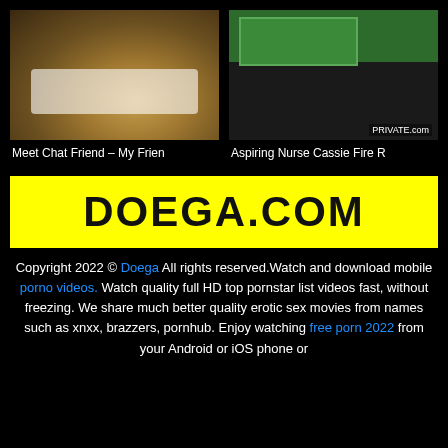[Figure (photo): Thumbnail of bedroom scene video]
[Figure (photo): Thumbnail of classroom scene video with PRIVATE.com watermark]
Meet Chat Friend – My Frien
Aspiring Nurse Cassie Fire R
DOEGA.COM
Copyright 2022 © Doega All rights reserved.Watch and download mobile porno videos. Watch quality full HD top pornstar list videos fast, without freezing. We share much better quality erotic sex movies from names such as xnxx, brazzers, pornhub. Enjoy watching free porn 2022 from your Android or iOS phone or